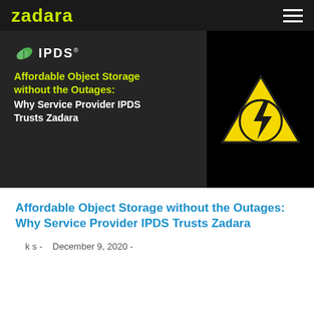zadara
[Figure (illustration): Dark-background hero image showing IPDS logo and article title 'Affordable Object Storage without the Outages: Why Service Provider IPDS Trusts Zadara' on the left, and a yellow warning triangle with a lightning bolt symbol on a black background on the right.]
Affordable Object Storage without the Outages: Why Service Provider IPDS Trusts Zadara
k s -   December 9, 2020 -